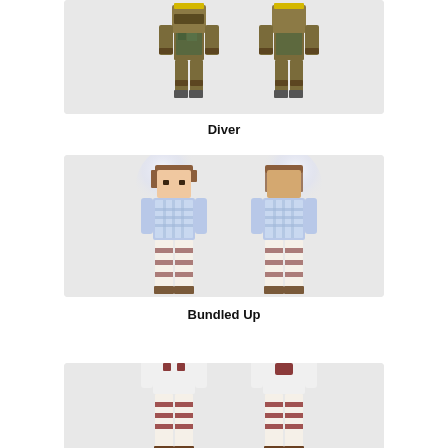[Figure (illustration): Minecraft character skin called Diver shown from front and back views, wearing olive/brown military-style outfit with camouflage vest, shown partially cropped at top of page]
Diver
[Figure (illustration): Minecraft character skin called Bundled Up shown from front and back views, wearing a blue and white plaid/flannel outfit with striped leggings, with glowing white aura effect]
Bundled Up
[Figure (illustration): Minecraft character skin (name not shown) displayed from front and back views, wearing white outfit with red scarf and striped leggings, brown hair, partially cropped at bottom of page]